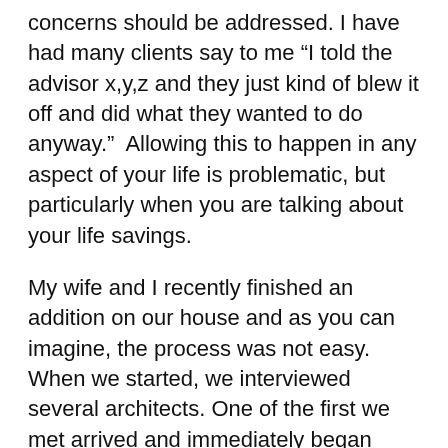concerns should be addressed. I have had many clients say to me “I told the advisor x,y,z and they just kind of blew it off and did what they wanted to do anyway.”  Allowing this to happen in any aspect of your life is problematic, but particularly when you are talking about your life savings.
My wife and I recently finished an addition on our house and as you can imagine, the process was not easy. When we started, we interviewed several architects. One of the first we met arrived and immediately began trying to convince me to do a barn style addition. I explained that we were looking for a different style, but he kept talking for 45 minutes about barns!